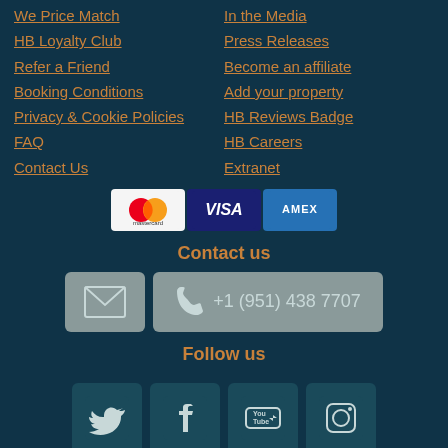We Price Match
HB Loyalty Club
Refer a Friend
Booking Conditions
Privacy & Cookie Policies
FAQ
Contact Us
In the Media
Press Releases
Become an affiliate
Add your property
HB Reviews Badge
HB Careers
Extranet
[Figure (other): Payment method icons: Mastercard, Visa, American Express]
Contact us
[Figure (other): Email icon button and phone button with number +1 (951) 438 7707]
Follow us
[Figure (other): Social media icons: Twitter, Facebook, YouTube, Instagram]